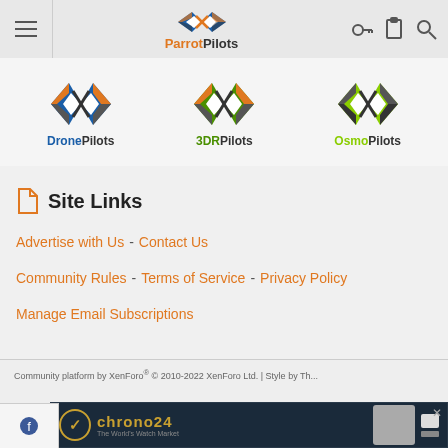ParrotPilots
[Figure (logo): DronePilots logo - X with wings icon in blue/orange/black with text DronePilots]
[Figure (logo): 3DRPilots logo - X with wings icon in green/orange/black with text 3DRPilots]
[Figure (logo): OsmoPilots logo - X with wings icon in lime green/black with text OsmoPilots]
Site Links
Advertise with Us - Contact Us
Community Rules - Terms of Service - Privacy Policy
Manage Email Subscriptions
Community platform by XenForo® © 2010-2022 XenForo Ltd. | Style by The...